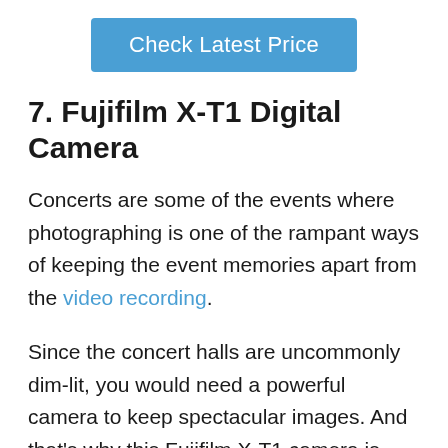[Figure (other): Blue button with white text reading 'Check Latest Price']
7. Fujifilm X-T1 Digital Camera
Concerts are some of the events where photographing is one of the rampant ways of keeping the event memories apart from the video recording.
Since the concert halls are uncommonly dim-lit, you would need a powerful camera to keep spectacular images. And that’s why this Fujifilm X-T1 camera is handy.